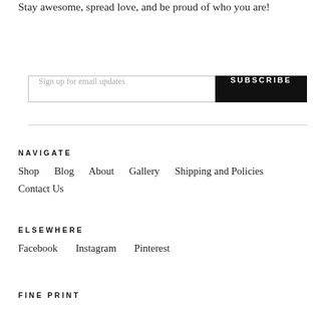Stay awesome, spread love, and be proud of who you are!
Sign up for email updates
SUBSCRIBE
NAVIGATE
Shop
Blog
About
Gallery
Shipping and Policies
Contact Us
ELSEWHERE
Facebook
Instagram
Pinterest
FINE PRINT